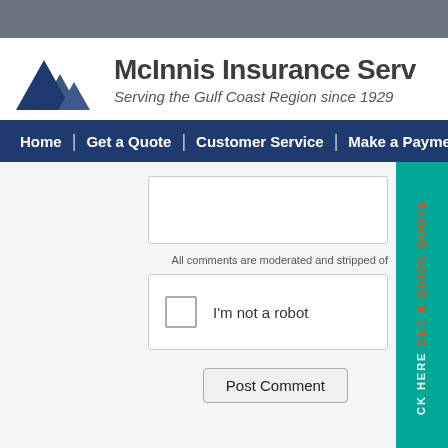[Figure (logo): McInnis Insurance Services logo with dark blue mountain/triangle shapes and company name]
McInnis Insurance Serv
Serving the Gulf Coast Region since 1929
[Figure (screenshot): Navigation bar with Home | Get a Quote | Customer Service | Make a Payment menu items on dark blue background]
[Figure (screenshot): Comment form area with text input box, moderation notice, reCAPTCHA 'I'm not a robot' checkbox, and Post Comment button. GET A QUICK QUOTE tab on right side.]
NOTICE: This blog and website are made available by the publisher for edu is not be used as a substitute for competent insurance, legal, or tax advice f